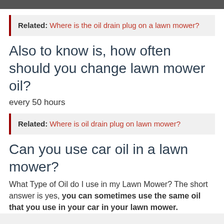[Figure (photo): Top strip of a photo, cropped, dark/grey tones]
Related: Where is the oil drain plug on a lawn mower?
Also to know is, how often should you change lawn mower oil?
every 50 hours
Related: Where is oil drain plug on lawn mower?
Can you use car oil in a lawn mower?
What Type of Oil do I use in my Lawn Mower? The short answer is yes, you can sometimes use the same oil that you use in your car in your lawn mower.